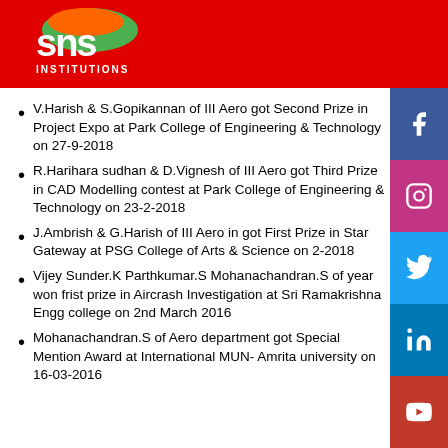[Figure (logo): SNS Institutions logo on red background header bar]
V.Harish & S.Gopikannan of III Aero got Second Prize in Project Expo at Park College of Engineering & Technology on 27-9-2018
R.Harihara sudhan & D.Vignesh of III Aero got Third Prize in CAD Modelling contest at Park College of Engineering & Technology on 23-2-2018
J.Ambrish & G.Harish of III Aero in got First Prize in Star Gateway at PSG College of Arts & Science on 2-2018
Vijey Sunder.K Parthkumar.S Mohanachandran.S of year won frist prize in Aircrash Investigation at Sri Ramakrishna Engg college on 2nd March 2016
Mohanachandran.S of Aero department got Special Mention Award at International MUN- Amrita university on 16-03-2016